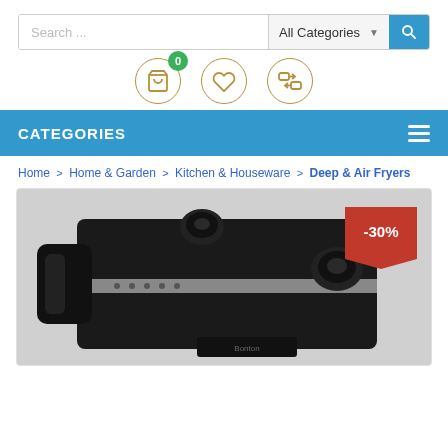[Figure (screenshot): E-commerce website search bar with text 'Search ...' input field, 'All Categories' dropdown, and blue search button with magnifying glass icon]
[Figure (screenshot): Navigation icons row: shopping cart with green badge showing 0, heart/wishlist icon, and compare icon, all in circular borders]
CATEGORIES
Home > Home & Garden > Kitchen & Houseware > Deep & Air Fryers
[Figure (photo): Product photo of a black deep fryer/air fryer appliance with chrome accents, two control knobs, and a -30% discount badge in the top right corner]